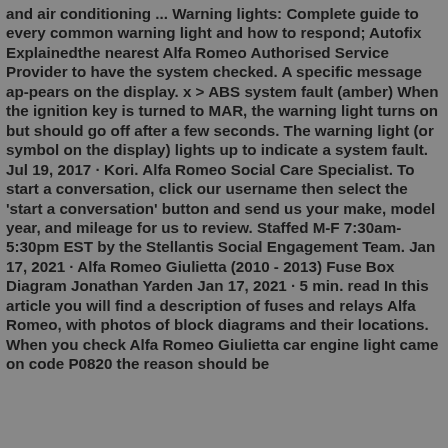and air conditioning ... Warning lights: Complete guide to every common warning light and how to respond; Autofix Explainedthe nearest Alfa Romeo Authorised Service Provider to have the system checked. A specific message ap-pears on the display. x > ABS system fault (amber) When the ignition key is turned to MAR, the warning light turns on but should go off after a few seconds. The warning light (or symbol on the display) lights up to indicate a system fault. Jul 19, 2017 · Kori. Alfa Romeo Social Care Specialist. To start a conversation, click our username then select the 'start a conversation' button and send us your make, model year, and mileage for us to review. Staffed M-F 7:30am-5:30pm EST by the Stellantis Social Engagement Team. Jan 17, 2021 · Alfa Romeo Giulietta (2010 - 2013) Fuse Box Diagram Jonathan Yarden Jan 17, 2021 · 5 min. read In this article you will find a description of fuses and relays Alfa Romeo, with photos of block diagrams and their locations. When you check Alfa Romeo Giulietta car engine light came on code P0820 the reason should be